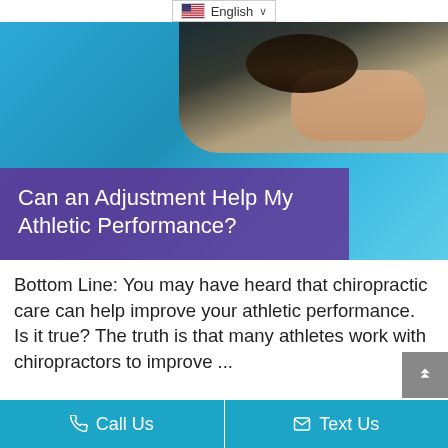[Figure (screenshot): Language selector dropdown showing US flag and 'English' with a chevron/dropdown arrow]
[Figure (photo): Person lying face down on a blue mat with hands behind head, viewed from above. Purple semi-transparent overlay in lower-left with title text 'Can an Adjustment Help My Athletic Performance?' in white.]
Bottom Line: You may have heard that chiropractic care can help improve your athletic performance. Is it true? The truth is that many athletes work with chiropractors to improve ...
Call Us   Text Us